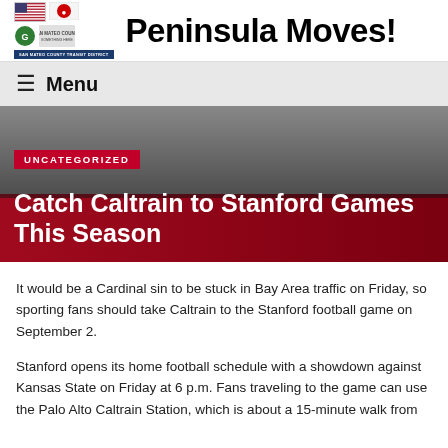Peninsula Moves!
Menu
[Figure (screenshot): Hero banner with dark gradient background, red UNCATEGORIZED badge, and dark red title bar]
Catch Caltrain to Stanford Games This Season
It would be a Cardinal sin to be stuck in Bay Area traffic on Friday, so sporting fans should take Caltrain to the Stanford football game on September 2.
Stanford opens its home football schedule with a showdown against Kansas State on Friday at 6 p.m. Fans traveling to the game can use the Palo Alto Caltrain Station, which is about a 15-minute walk from